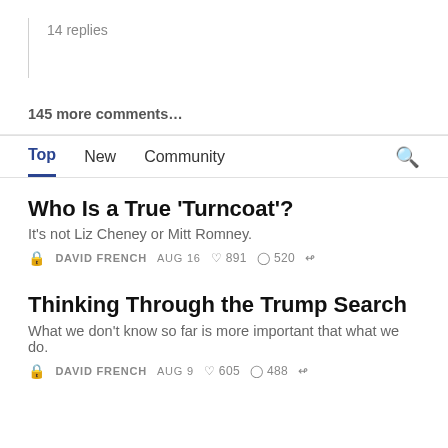14 replies
145 more comments...
Top  New  Community
Who Is a True ‘Turncoat’?
It's not Liz Cheney or Mitt Romney.
DAVID FRENCH  AUG 16  891  520
Thinking Through the Trump Search
What we don’t know so far is more important that what we do.
DAVID FRENCH  AUG 9  605  488